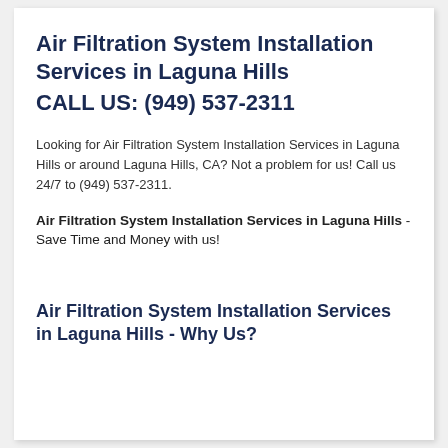Air Filtration System Installation Services in Laguna Hills
CALL US: (949) 537-2311
Looking for Air Filtration System Installation Services in Laguna Hills or around Laguna Hills, CA? Not a problem for us! Call us 24/7 to (949) 537-2311.
Air Filtration System Installation Services in Laguna Hills - Save Time and Money with us!
Air Filtration System Installation Services in Laguna Hills - Why Us?